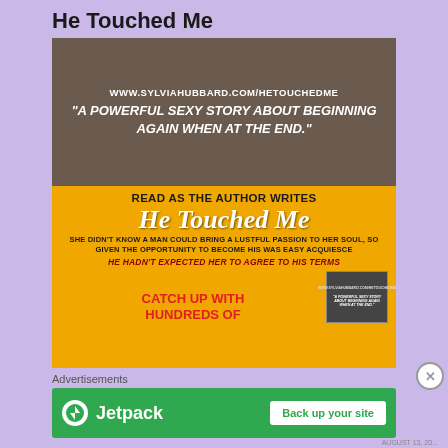He Touched Me
[Figure (illustration): Book promotional image for 'He Touched Me' by Sylvia Hubbard. Top half shows a dark-toned photo background with URL 'www.sylviahubbard.com/hetouchedme' and quote text. Bottom half is golden/yellow with bold text promoting the serialized story.]
Advertisements
[Figure (logo): Jetpack advertisement banner with green background, Jetpack logo and lightning bolt icon, and a white 'Back up your site' button.]